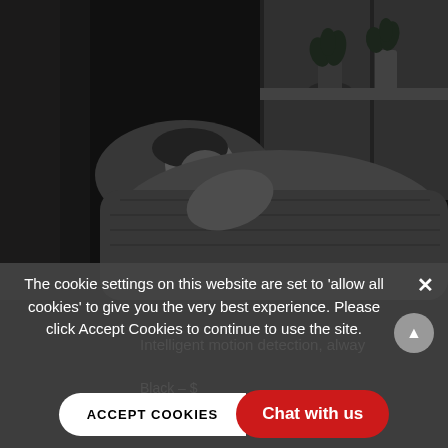[Figure (photo): Black and white photograph of a person lying in bed covered with blankets, with potted plants visible on a windowsill in the background]
The cookie settings on this website are set to 'allow all cookies' to give you the very best experience. Please click Accept Cookies to continue to use the site.
Intelligent motion detection, alway
Black – $
ACCEPT COOKIES
Chat with us